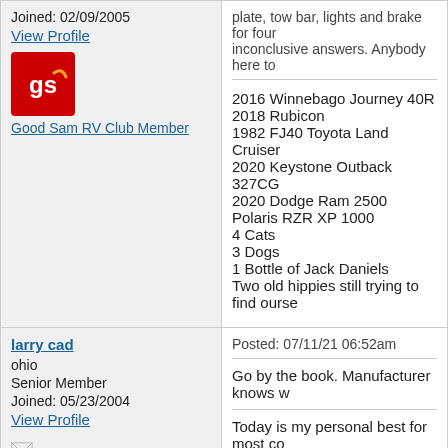Joined: 02/09/2005
View Profile
[Figure (logo): Good Sam RV Club red logo with 'gs' text]
Good Sam RV Club Member
plate, tow bar, lights and brake for four inconclusive answers. Anybody here to
2016 Winnebago Journey 40R
2018 Rubicon
1982 FJ40 Toyota Land Cruiser
2020 Keystone Outback 327CG
2020 Dodge Ram 2500
Polaris RZR XP 1000
4 Cats
3 Dogs
1 Bottle of Jack Daniels
Two old hippies still trying to find ourse
larry cad
ohio
Senior Member
Joined: 05/23/2004
View Profile
Offline
Posted: 07/11/21 06:52am
Go by the book. Manufacturer knows w
Today is my personal best for most co
Our Travel Blog
eHoefler
Posted: 07/11/21 06:52am